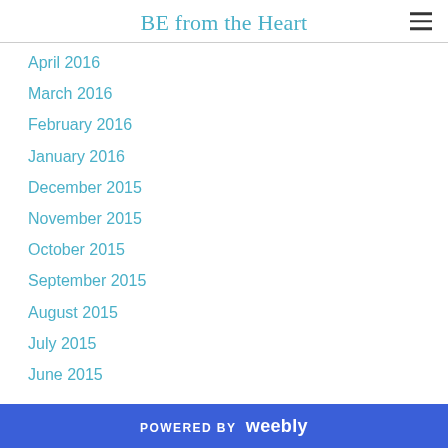BE from the Heart
April 2016
March 2016
February 2016
January 2016
December 2015
November 2015
October 2015
September 2015
August 2015
July 2015
June 2015
May 2015
April 2015
March 2015
February 2015
POWERED BY weebly